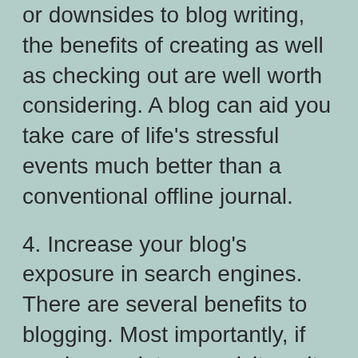or downsides to blog writing, the benefits of creating as well as checking out are well worth considering. A blog can aid you take care of life's stressful events much better than a conventional offline journal.
4. Increase your blog's exposure in search engines. There are several benefits to blogging. Most importantly, if you have a lot more visitors, it will be less complicated for you to earn money through your blog. This will certainly boost your opportunities of promoting your service or a product via a blog. A greater blog site's search engine positions means